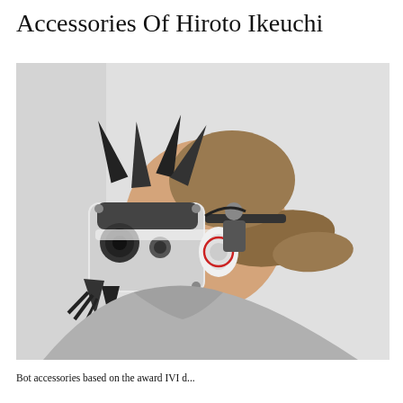Accessories Of Hiroto Ikeuchi
[Figure (photo): A person wearing an elaborate sci-fi mechanical headset/accessory covering both eyes and parts of the face. The device is white and black with intricate mechanical components, screws, lenses, and dark blade-like protrusions on top. The person has light brown hair in a ponytail and wears a grey hoodie. Shot against a light grey background.]
Bot accessories based on the award IVI d...